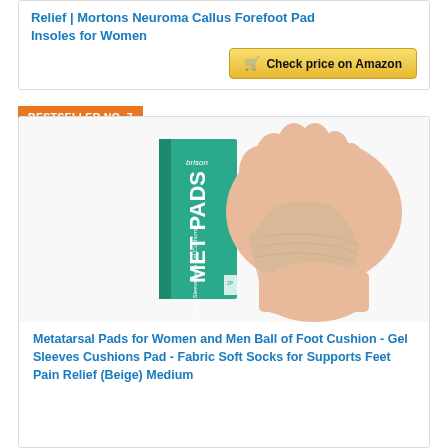Relief | Mortons Neuroma Callus Forefoot Pad Insoles for Women
[Figure (other): Amazon product listing button with cart icon saying 'Check price on Amazon']
BESTSELLER NO. 7
[Figure (photo): Product photo of Brison Met Pads - Fabric Sleeves with Gel Cushions, shown with a foot wearing the beige fabric sleeve, alongside the green product box.]
Metatarsal Pads for Women and Men Ball of Foot Cushion - Gel Sleeves Cushions Pad - Fabric Soft Socks for Supports Feet Pain Relief (Beige) Medium